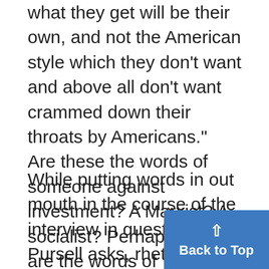what they get will be their own, and not the American style which they don't want and above all don't want crammed down their throats by Americans." Are these the words of someone against investment? A Marxist? A socialist? Perhaps, they are the words of experience and realism?
While putting words in out mouth in the course of the interview in question, Pursell asks, rhetorically, what we are for, or what specific initiatives need to be ta... member of two local groups in...